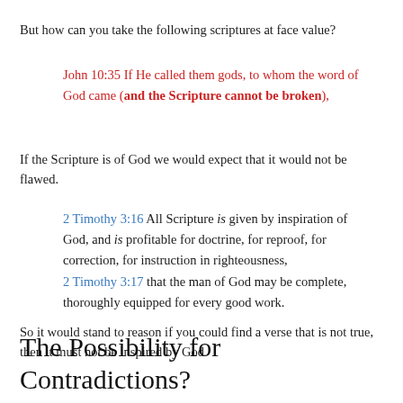But how can you take the following scriptures at face value?
John 10:35 If He called them gods, to whom the word of God came (and the Scripture cannot be broken),
If the Scripture is of God we would expect that it would not be flawed.
2 Timothy 3:16 All Scripture is given by inspiration of God, and is profitable for doctrine, for reproof, for correction, for instruction in righteousness, 2 Timothy 3:17 that the man of God may be complete, thoroughly equipped for every good work.
So it would stand to reason if you could find a verse that is not true, then it must not be inspired by God
The Possibility for Contradictions?